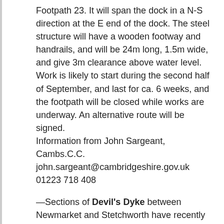Footpath 23.  It will span the dock in a N-S direction at the E end of the dock.  The steel structure will have a wooden footway and handrails, and will be 24m long, 1.5m wide, and give 3m clearance above water level. Work is likely to start during the second half of September, and last for ca. 6 weeks, and the footpath will be closed while works are underway. An alternative route will be signed.
Information from John Sargeant, Cambs.C.C. john.sargeant@cambridgeshire.gov.uk  01223 718 408
—Sections of Devil's Dyke between Newmarket and Stetchworth have recently re-opened, following tree work.  Cambs. C.C. announced this in August.  We were not aware that the path had been closed, in spite of using it at intervals through the Summer! You will see a few large trees have been removed from the wooded section, and some overhanging branches cut back, but fortunately, there is nothing like the